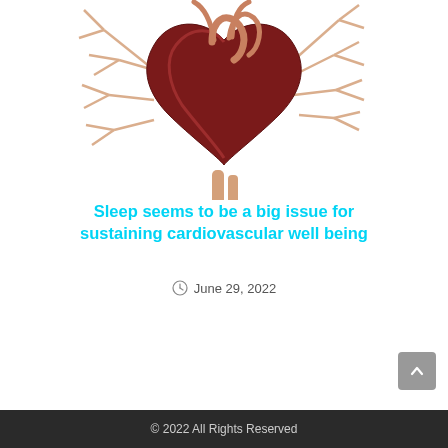[Figure (illustration): Anatomical illustration of a human heart with arteries and vessels on a white background]
Sleep seems to be a big issue for sustaining cardiovascular well being
June 29, 2022
© 2022 All Rights Reserved